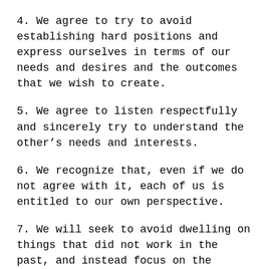4. We agree to try to avoid establishing hard positions and express ourselves in terms of our needs and desires and the outcomes that we wish to create.
5. We agree to listen respectfully and sincerely try to understand the other’s needs and interests.
6. We recognize that, even if we do not agree with it, each of us is entitled to our own perspective.
7. We will seek to avoid dwelling on things that did not work in the past, and instead focus on the future we want to create.
8. We agree to make a conscious, sincere effort to refrain from unproductive arguing, venting, and